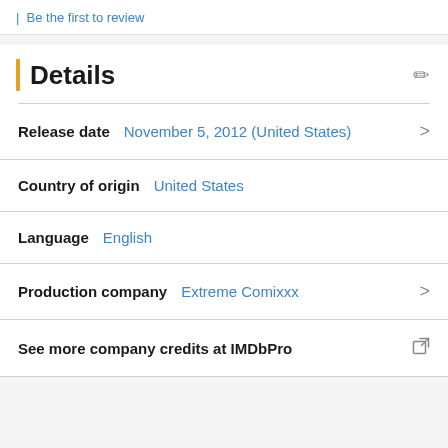Be the first to review
Details
Release date   November 5, 2012 (United States)
Country of origin   United States
Language   English
Production company   Extreme Comixxx
See more company credits at IMDbPro